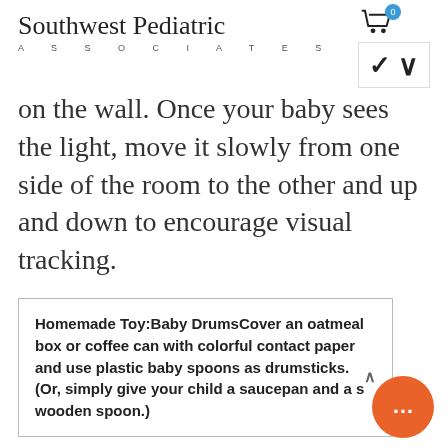Southwest Pediatric ASSOCIATES
on the wall. Once your baby sees the light, move it slowly from one side of the room to the other and up and down to encourage visual tracking.
Homemade Toy:Baby DrumsCover an oatmeal box or coffee can with colorful contact paper and use plastic baby spoons as drumsticks. (Or, simply give your child a saucepan and a s wooden spoon.)